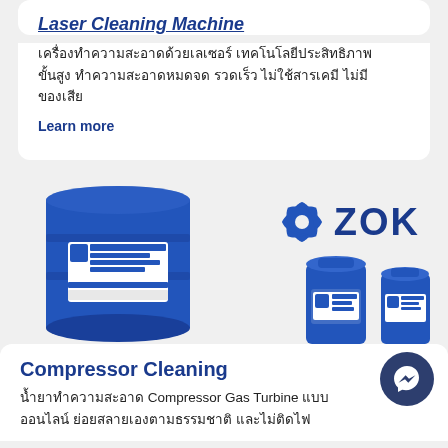Laser Cleaning Machine
เครื่องทำความสะอาดด้วยเลเซอร์ เทคโนโลยีประสิทธิภาพขั้นสูง ทำความสะอาดหมดจด รวดเร็ว ไม่ใช้สารเคมี ไม่มีของเสีย
Learn more
[Figure (photo): Blue ZOK brand industrial containers: one large barrel with label 'Cleaning Fluid for Compressors & Gas Turbine Engines' and two smaller bottles, plus ZOK logo with swirl icon on the right]
Compressor Cleaning
น้ำยาทำความสะอาด Compressor Gas Turbine แบบออนไลน์ ย่อยสลายเองตามธรรมชาติ และไม่ติดไฟ